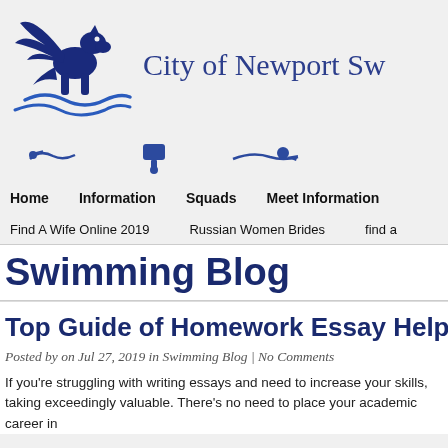[Figure (logo): City of Newport Swimming club logo — winged horse/griffin above waves in dark navy blue]
City of Newport Sw
[Figure (illustration): Navigation icons: swimmer icon, whistle icon, swimmer icon]
Home   Information   Squads   Meet Information
Find A Wife Online 2019   Russian Women Brides   find a
Swimming Blog
Top Guide of Homework Essay Help
Posted by on Jul 27, 2019 in Swimming Blog | No Comments
If you're struggling with writing essays and need to increase your skills, taking exceedingly valuable.    There's no need to place your academic career in